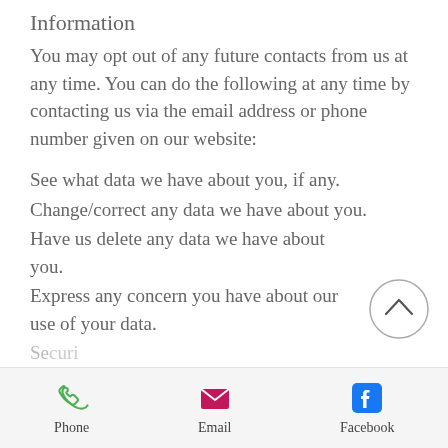Information
You may opt out of any future contacts from us at any time. You can do the following at any time by contacting us via the email address or phone number given on our website:
See what data we have about you, if any.
Change/correct any data we have about you.
Have us delete any data we have about you.
Express any concern you have about our use of your data.
Phone   Email   Facebook